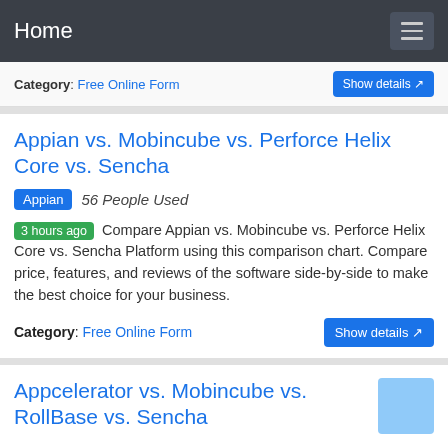Home
Category: Free Online Form
Appian vs. Mobincube vs. Perforce Helix Core vs. Sencha
Appian  56 People Used
3 hours ago Compare Appian vs. Mobincube vs. Perforce Helix Core vs. Sencha Platform using this comparison chart. Compare price, features, and reviews of the software side-by-side to make the best choice for your business.
Category: Free Online Form
Appcelerator vs. Mobincube vs. RollBase vs. Sencha